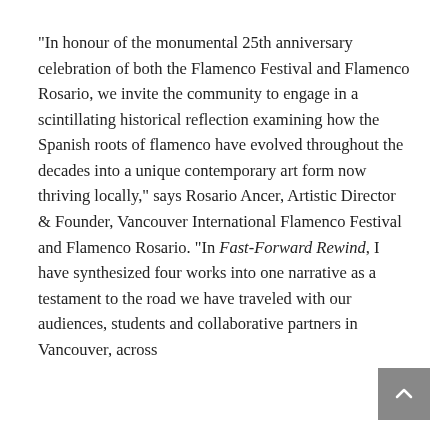“In honour of the monumental 25th anniversary celebration of both the Flamenco Festival and Flamenco Rosario, we invite the community to engage in a scintillating historical reflection examining how the Spanish roots of flamenco have evolved throughout the decades into a unique contemporary art form now thriving locally,” says Rosario Ancer, Artistic Director & Founder, Vancouver International Flamenco Festival and Flamenco Rosario. “In Fast-Forward Rewind, I have synthesized four works into one narrative as a testament to the road we have traveled with our audiences, students and collaborative partners in Vancouver, across Canada and internationally—and the road ahead.